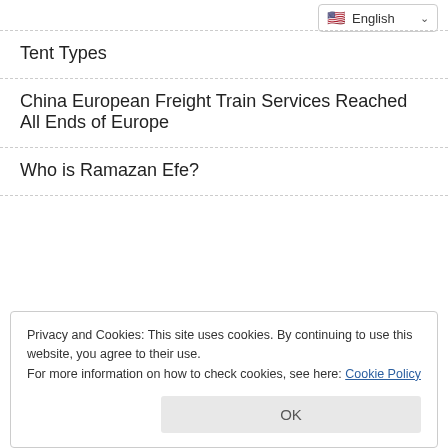English
Tent Types
China European Freight Train Services Reached All Ends of Europe
Who is Ramazan Efe?
Privacy and Cookies: This site uses cookies. By continuing to use this website, you agree to their use.
For more information on how to check cookies, see here: Cookie Policy
OK